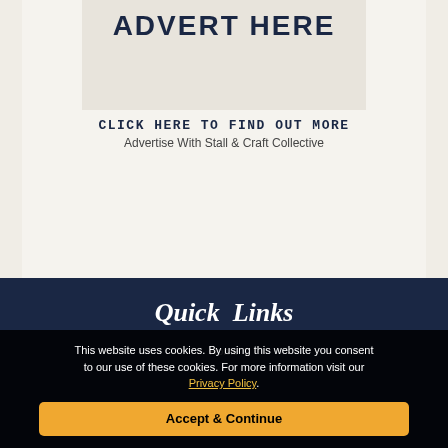[Figure (illustration): Advertisement placeholder box with 'ADVERT HERE' text in dark navy on a beige/cream background]
CLICK HERE TO FIND OUT MORE
Advertise With Stall & Craft Collective
Quick Links
Home
This website uses cookies. By using this website you consent to our use of these cookies. For more information visit our Privacy Policy.
Accept & Continue
Event Organiser Registration